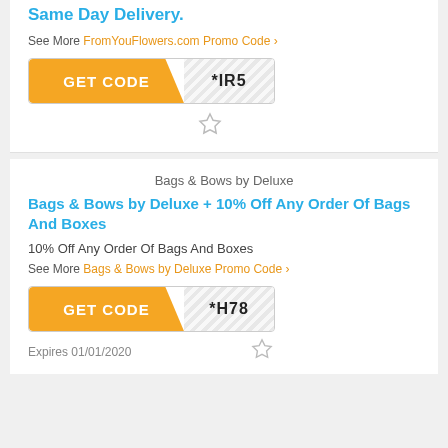Same Day Delivery.
See More FromYouFlowers.com Promo Code ›
[Figure (other): Orange GET CODE button with masked promo code *IR5]
[Figure (other): Star/favorite icon (outline)]
Bags & Bows by Deluxe
Bags & Bows by Deluxe + 10% Off Any Order Of Bags And Boxes
10% Off Any Order Of Bags And Boxes
See More Bags & Bows by Deluxe Promo Code ›
[Figure (other): Orange GET CODE button with masked promo code *H78]
Expires 01/01/2020
[Figure (other): Star/favorite icon (outline)]